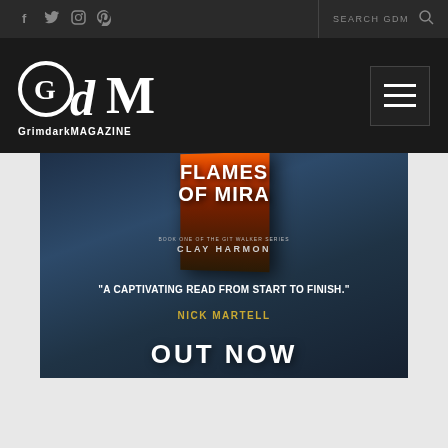Social icons: f, Twitter, Instagram, Pinterest | SEARCH GDM
[Figure (logo): GrimdarkMAGAZINE logo with stylized GdM text and hamburger menu button]
[Figure (illustration): Book advertisement for Flames of Mira by Clay Harmon. Quote: 'A captivating read from start to finish.' - Nick Martell. OUT NOW.]